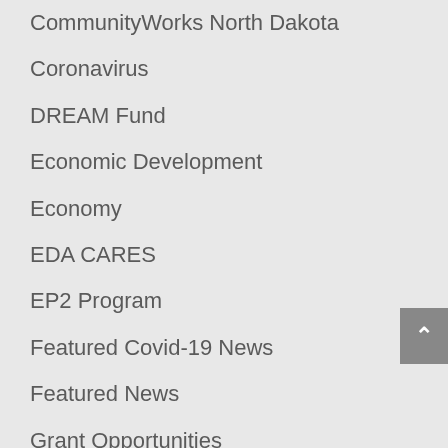CommunityWorks North Dakota
Coronavirus
DREAM Fund
Economic Development
Economy
EDA CARES
EP2 Program
Featured Covid-19 News
Featured News
Grant Opportunities
Home Loans
Housing
In the News
Lewis & Clark CDC